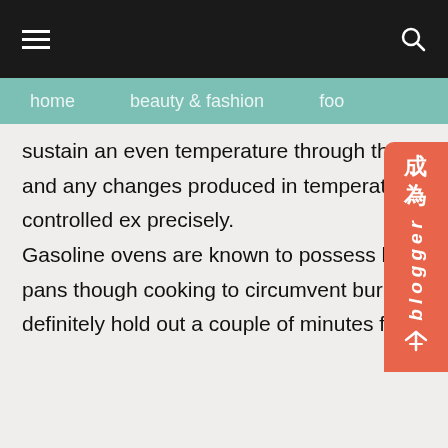≡  [hamburger menu]  [search icon]
home   beauty & fashion   foo[d]
sustain an even temperature through the entire cooking course of action. However, gas burns hotter and any changes produced in temperature are a lot quicker having a fuel oven and might be controlled ex precisely.
Gasoline ovens are known to possess hot spots this means you will find the necessity to rotate your pans though cooking to circumvent burning. Then again, electric powered ovens will require you to definitely hold out a couple of minutes for a longer time to